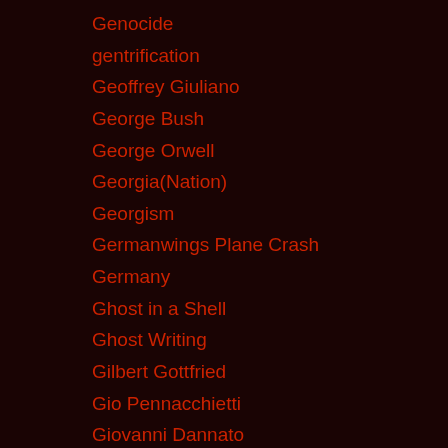Genocide
gentrification
Geoffrey Giuliano
George Bush
George Orwell
Georgia(Nation)
Georgism
Germanwings Plane Crash
Germany
Ghost in a Shell
Ghost Writing
Gilbert Gottfried
Gio Pennacchietti
Giovanni Dannato
Gleb Tsipursky